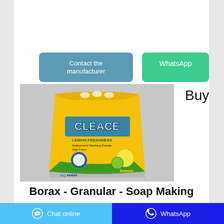Contact the manufacturer
WhatsApp
Buy
[Figure (photo): Yellow bag of CLEACE Lemon Freshness washing powder product on grey background]
Borax - Granular - Soap Making
Chat online   WhatsApp